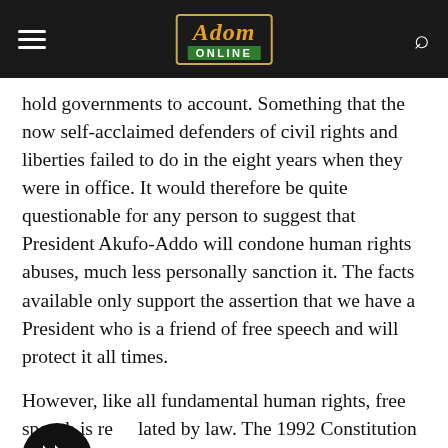Adom Online
hold governments to account. Something that the now self-acclaimed defenders of civil rights and liberties failed to do in the eight years when they were in office. It would therefore be quite questionable for any person to suggest that President Akufo-Addo will condone human rights abuses, much less personally sanction it. The facts available only support the assertion that we have a President who is a friend of free speech and will protect it all times.
However, like all fundamental human rights, free speech is regulated by law. The 1992 Constitution provides that fundamental human rights may be curtailed for the preservation of public peace and safety. Human rights cannot be granted unqualifiedly as this will surely lead to disorder and anarchy. People are free to pursue their own lives so long as they respect the equal rights of others. It therefore cannot be the case that citizens should be allowed to use their right of free speech to incite chaos or